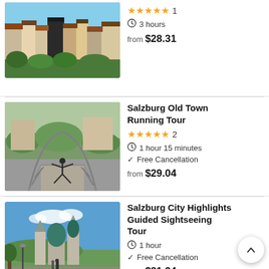[Figure (photo): Aerial view of Salzburg colorful city buildings with rooftops]
★★★★★ 1
⏱ 3 hours
from $28.31
[Figure (photo): Person jumping on a pedestrian bridge over a river in Salzburg]
Salzburg Old Town Running Tour
★★★★★ 2
⏱ 1 hour 15 minutes
✓ Free Cancellation
from $29.04
[Figure (photo): Salzburg cathedral and cityscape with green dome under blue sky]
Salzburg City Highlights Guided Sightseeing Tour
⏱ 1 hour
✓ Free Cancellation
from $21.24